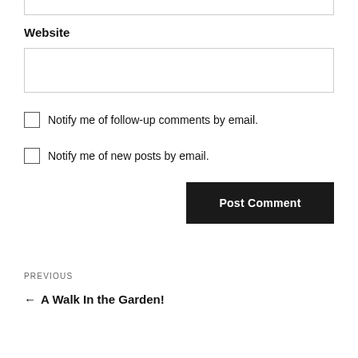Website
[Figure (screenshot): Website input text field (empty, bordered)]
Notify me of follow-up comments by email.
Notify me of new posts by email.
Post Comment
PREVIOUS
← A Walk In the Garden!